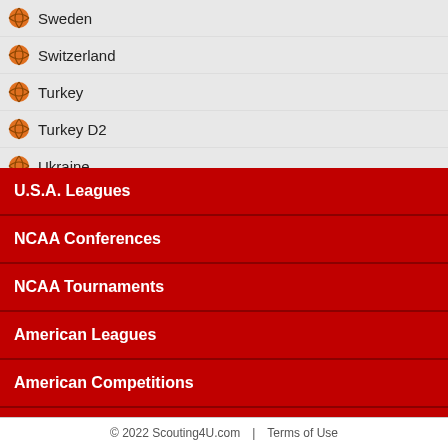Sweden
Switzerland
Turkey
Turkey D2
Ukraine
United Kingdom
U.S.A. Leagues
NCAA Conferences
NCAA Tournaments
American Leagues
American Competitions
Asia - Oceania Leagues
National Competitions
Summer Leagues
Youth Competitions
HighSchool Tounaments
© 2022 Scouting4U.com | Terms of Use